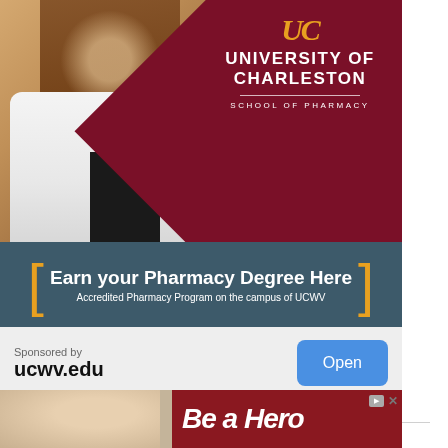[Figure (photo): Advertisement for University of Charleston School of Pharmacy. Shows a smiling woman in a white lab coat against a maroon diamond-shaped background with the UC logo and text 'University of Charleston School of Pharmacy'. Below is a dark teal banner with yellow brackets reading 'Earn your Pharmacy Degree Here' and 'Accredited Pharmacy Program on the campus of UCWV'.]
Sponsored by
ucwv.edu
[Figure (photo): Second advertisement showing partial view of a person with text 'Be a Hero' in italic white font on a maroon background, with ad control icons (play/video and close X) in the upper right.]